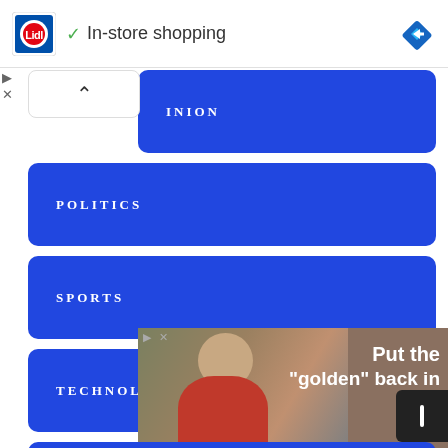[Figure (screenshot): Lidl advertisement banner with logo, checkmark, 'In-store shopping' text, and blue navigation arrow icon]
OPINION
POLITICS
SPORTS
TECHNOLOGY
WORLD
[Figure (screenshot): Bottom advertisement banner with person image and text 'Put the "golden" back in']